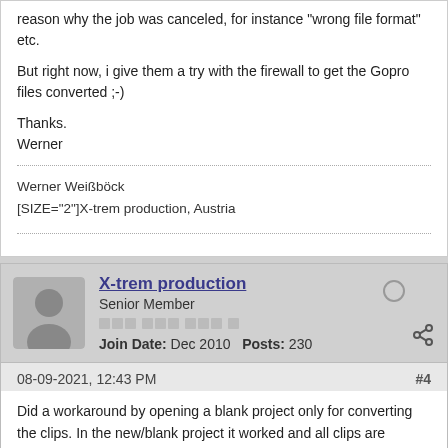reason why the job was canceled, for instance "wrong file format" etc.
But right now, i give them a try with the firewall to get the Gopro files converted ;-)
Thanks.
Werner
Werner Weißböck
[SIZE="2"]X-trem production, Austria
X-trem production
Senior Member
Join Date: Dec 2010   Posts: 230
08-09-2021, 12:43 PM
#4
Did a workaround by opening a blank project only for converting the clips. In the new/blank project it worked and all clips are converted. I tried the same, also after unblocking all GV tasks (according the suggestsion) in the firewall of the original project file, and it failed again. I think there is some issue in the project file...